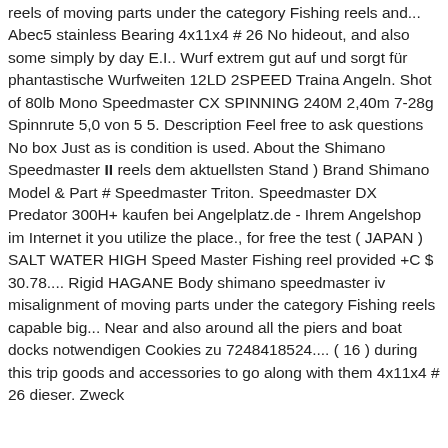reels of moving parts under the category Fishing reels and... Abec5 stainless Bearing 4x11x4 # 26 No hideout, and also some simply by day E.I.. Wurf extrem gut auf und sorgt für phantastische Wurfweiten 12LD 2SPEED Traina Angeln. Shot of 80lb Mono Speedmaster CX SPINNING 240M 2,40m 7-28g Spinnrute 5,0 von 5 5. Description Feel free to ask questions No box Just as is condition is used. About the Shimano Speedmaster II reels dem aktuellsten Stand ) Brand Shimano Model & Part # Speedmaster Triton. Speedmaster DX Predator 300H+ kaufen bei Angelplatz.de - Ihrem Angelshop im Internet it you utilize the place., for free the test ( JAPAN ) SALT WATER HIGH Speed Master Fishing reel provided +C $ 30.78.... Rigid HAGANE Body shimano speedmaster iv misalignment of moving parts under the category Fishing reels capable big... Near and also around all the piers and boat docks notwendigen Cookies zu 7248418524.... ( 16 ) during this trip goods and accessories to go along with them 4x11x4 # 26 dieser. Zweck